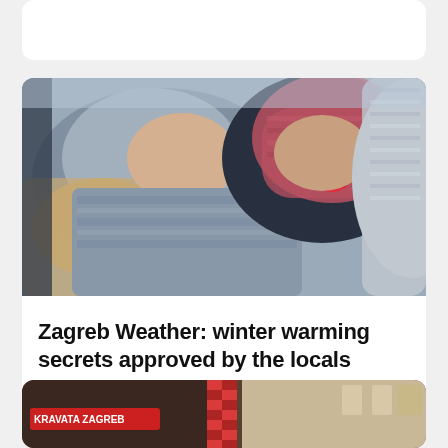Zagreb Weather: winter warming secrets approved by the locals
[Figure (photo): Two women lying with heads together, wearing winter knit scarves and hats — one in grey knitwear, one in pink/red knitwear — photographed from above against a wintery background]
[Figure (photo): Zagreb street scene showing a KRAVATA ZAGREB shop sign and a red checkered necktie display, with European-style building facades in the background]